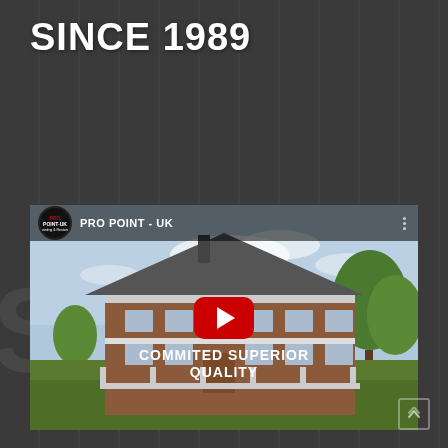SINCE 1989
GET A QUOTE
[Figure (screenshot): YouTube video embed thumbnail showing a large brick building/house with green trees and sky background. Video title shows 'PRO POINT - UK' and overlay text 'COMMITTED SUPERIOR QUALITY'. YouTube play button overlay in center.]